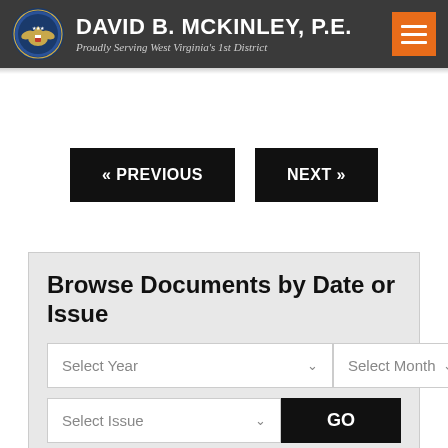DAVID B. MCKINLEY, P.E. — Proudly Serving West Virginia's 1st District
« PREVIOUS   NEXT »
Browse Documents by Date or Issue
Select Year   Select Month   GO
Select Issue   GO